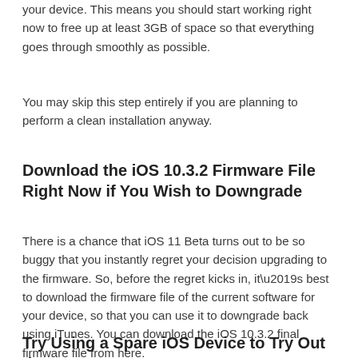your device. This means you should start working right now to free up at least 3GB of space so that everything goes through smoothly as possible.
You may skip this step entirely if you are planning to perform a clean installation anyway.
Download the iOS 10.3.2 Firmware File Right Now if You Wish to Downgrade
There is a chance that iOS 11 Beta turns out to be so buggy that you instantly regret your decision upgrading to the firmware. So, before the regret kicks in, it’s best to download the firmware file of the current software for your device, so that you can use it to downgrade back using iTunes. You can download the iOS 10.3.2 final firmware file from here.
Try Using a Spare iOS Device to Try Out the New Beta